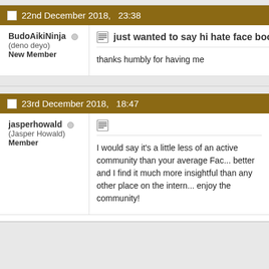22nd December 2018,   23:38
BudoAikiNinja
(deno deyo)
New Member
just wanted to say hi hate face book so i hope this place is
thanks humbly for having me
23rd December 2018,   18:47
jasperhowald
(Jasper Howald)
Member
I would say it's a little less of an active community than your average Fac... better and I find it much more insightful than any other place on the intern... enjoy the community!